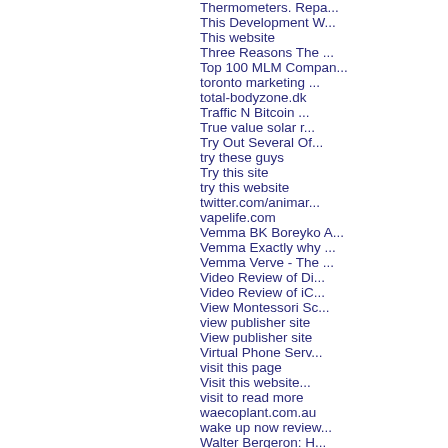Thermometers. Repa...
This Development W...
This website
Three Reasons The ...
Top 100 MLM Compan...
toronto marketing ...
total-bodyzone.dk
Traffic N Bitcoin ...
True value solar r...
Try Out Several Of...
try these guys
Try this site
try this website
twitter.com/animar...
vapelife.com
Vemma BK Boreyko A...
Vemma Exactly why ...
Vemma Verve - The ...
Video Review of Di...
Video Review of iC...
View Montessori Sc...
view publisher site
View publisher site
Virtual Phone Serv...
visit this page
Visit this website...
visit to read more
waecoplant.com.au
wake up now review...
Walter Bergeron: H...
warehousing servic...
We can help your c...
PopularC...
popularci...
Port Char...
prbuzz.co...
prbuzz.co...
Premier P...
Pressure ...
Professio...
Professio...
Purchase ...
Quick Pro...
Quick Sys...
Rat remo...
really coo...
Review o...
Riverside ...
Riverside ...
Rodent G...
Rodent tr...
roof repai...
Roofers Ir...
Roofers Ir...
Roofing C...
San Dieg...
sarasota ...
Self Prop...
selfstorag...
snow sho...
solar pan...
solar pow...
Solar Pow...
Solutions ...